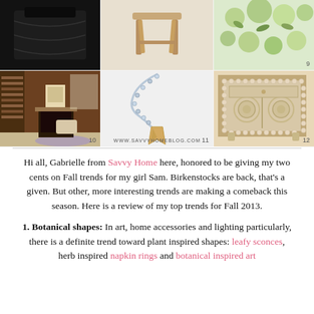[Figure (photo): Collage of home decor and fashion items numbered 9-12: dark sweater/fabric (top left), wooden stool (top center), botanical/floral print (#9, top right), library/study room interior (#10, bottom left), beaded necklace with shark tooth pendant (#11, bottom center), ornate mosaic cabinet (#12, bottom right). Watermark: www.savvyhomeblog.com]
Hi all, Gabrielle from Savvy Home here, honored to be giving my two cents on Fall trends for my girl Sam. Birkenstocks are back, that's a given. But other, more interesting trends are making a comeback this season. Here is a review of my top trends for Fall 2013.
1. Botanical shapes: In art, home accessories and lighting particularly, there is a definite trend toward plant inspired shapes: leafy sconces, herb inspired napkin rings and botanical inspired art